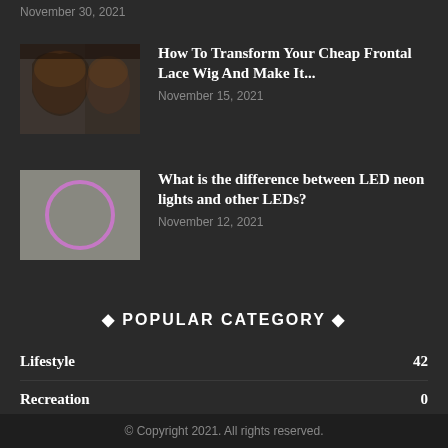November 30, 2021
[Figure (photo): Thumbnail photo of woman with frontal lace wig]
How To Transform Your Cheap Frontal Lace Wig And Make It...
November 15, 2021
[Figure (illustration): Gray background with purple/pink circle outline (neon ring)]
What is the difference between LED neon lights and other LEDs?
November 12, 2021
◆ POPULAR CATEGORY ◆
Lifestyle  42
Recreation  0
© Copyright 2021. All rights reserved.